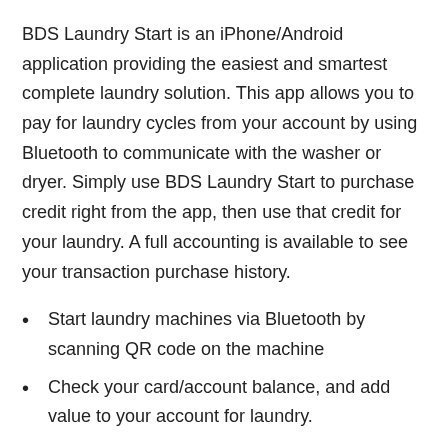BDS Laundry Start is an iPhone/Android application providing the easiest and smartest complete laundry solution. This app allows you to pay for laundry cycles from your account by using Bluetooth to communicate with the washer or dryer. Simply use BDS Laundry Start to purchase credit right from the app, then use that credit for your laundry. A full accounting is available to see your transaction purchase history.
Start laundry machines via Bluetooth by scanning QR code on the machine
Check your card/account balance, and add value to your account for laundry.
For participating laundry rooms, you can view machine availability as well as receive alerts when your laundry cycle is complete.